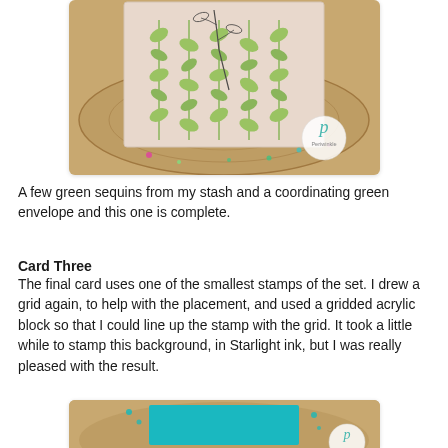[Figure (photo): A greeting card with green leaf pattern resting on a wood slice surface, with scattered sequins around it. A circular Periwinkle logo watermark is visible in the lower right.]
A few green sequins from my stash and a coordinating green envelope and this one is complete.
Card Three
The final card uses one of the smallest stamps of the set. I drew a grid again, to help with the placement, and used a gridded acrylic block so that I could line up the stamp with the grid. It took a little while to stamp this background, in Starlight ink, but I was really pleased with the result.
[Figure (photo): A teal/turquoise card on a wood surface with scattered teal sequins. A circular Periwinkle logo watermark is visible.]